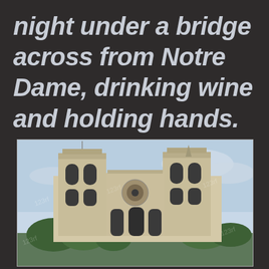night under a bridge across from Notre Dame, drinking wine and holding hands.
[Figure (photo): Photograph of the front facade of Notre Dame Cathedral in Paris, showing the two towers and gothic architecture, with trees and sky in the background. Stock photo watermarks visible.]